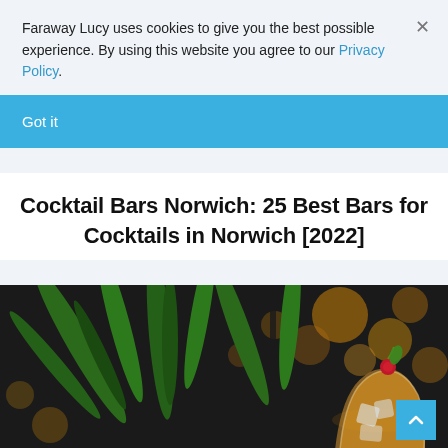Faraway Lucy uses cookies to give you the best possible experience. By using this website you agree to our Privacy Policy.
Got it
Cocktail Bars Norwich: 25 Best Bars for Cocktails in Norwich [2022]
[Figure (photo): A cocktail in a rocks glass with ice and a cherry garnish, with tropical green leaves and warm bokeh lights in the background]